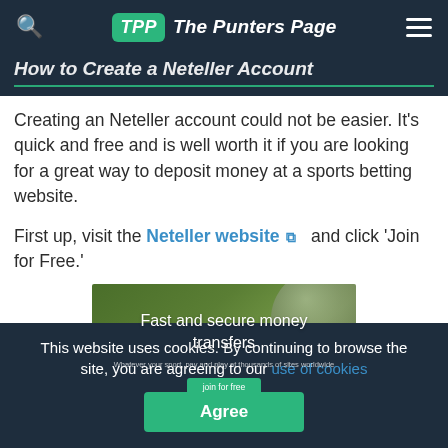TPP The Punters Page
How to Create a Neteller Account
Creating an Neteller account could not be easier. It's quick and free and is well worth it if you are looking for a great way to deposit money at a sports betting website.
First up, visit the Neteller website and click 'Join for Free.'
[Figure (screenshot): Neteller website banner showing 'Fast and secure money transfers' with a green background and football, and a 'Join for free' button]
This website uses cookies. By continuing to browse the site, you are agreeing to our use of cookies